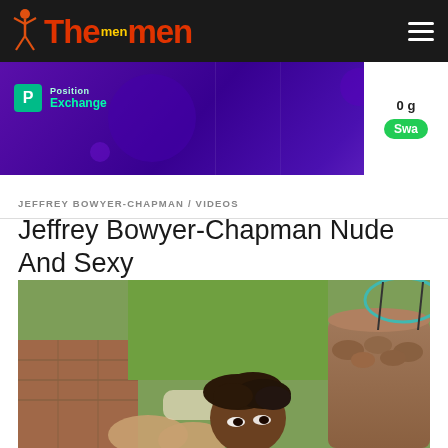The men
[Figure (other): Advertisement banner for Position Exchange with purple background, geometric circles, and green Swap button]
JEFFREY BOWYER-CHAPMAN / VIDEOS
Jeffrey Bowyer-Chapman Nude And Sexy
[Figure (photo): Outdoor photo of Jeffrey Bowyer-Chapman lying on ground looking up at camera, with lawn, patio chair, and stone planter in background]